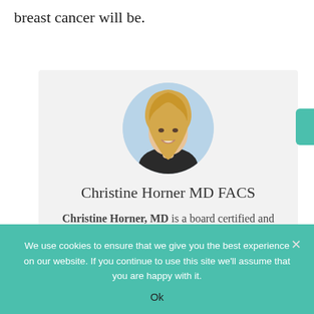breast cancer will be.
[Figure (photo): Circular portrait photo of Christine Horner MD FACS, a blonde woman smiling, shown from shoulders up against a light blue/sky background.]
Christine Horner MD FACS
Christine Horner, MD is a board certified and nationally recognized surgeon, author, professional speaker and a relentless champion for women's
We use cookies to ensure that we give you the best experience on our website. If you continue to use this site we'll assume that you are happy with it.
Ok